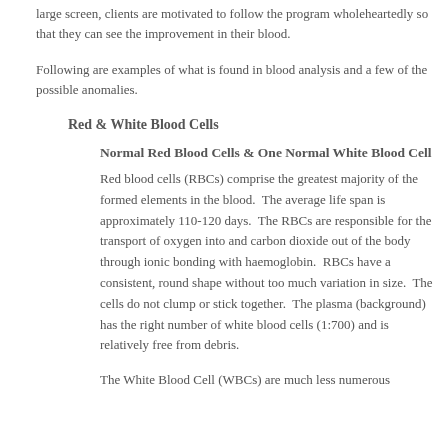large screen, clients are motivated to follow the program wholeheartedly so that they can see the improvement in their blood.
Following are examples of what is found in blood analysis and a few of the possible anomalies.
Red & White Blood Cells
Normal Red Blood Cells & One Normal White Blood Cell
Red blood cells (RBCs) comprise the greatest majority of the formed elements in the blood. The average life span is approximately 110-120 days. The RBCs are responsible for the transport of oxygen into and carbon dioxide out of the body through ionic bonding with haemoglobin. RBCs have a consistent, round shape without too much variation in size. The cells do not clump or stick together. The plasma (background) has the right number of white blood cells (1:700) and is relatively free from debris.
The White Blood Cell (WBCs) are much less numerous